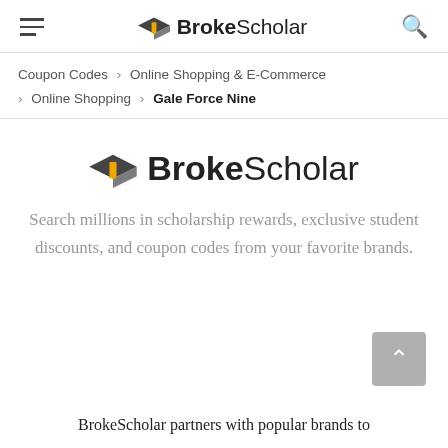BrokeScholar
Coupon Codes > Online Shopping & E-Commerce > Online Shopping > Gale Force Nine
[Figure (logo): BrokeScholar logo with graduation cap icon and text 'BrokeScholar']
Search millions in scholarship rewards, exclusive student discounts, and coupon codes from your favorite brands.
BrokeScholar partners with popular brands to